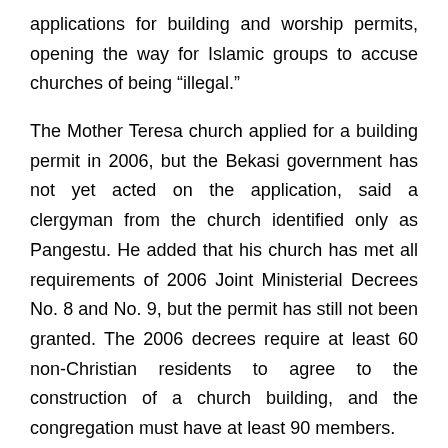applications for building and worship permits, opening the way for Islamic groups to accuse churches of being “illegal.”
The Mother Teresa church applied for a building permit in 2006, but the Bekasi government has not yet acted on the application, said a clergyman from the church identified only as Pangestu. He added that his church has met all requirements of 2006 Joint Ministerial Decrees No. 8 and No. 9, but the permit has still not been granted. The 2006 decrees require at least 60 non-Christian residents to agree to the construction of a church building, and the congregation must have at least 90 members.
The parish now worships at the Trinity School auditorium.
Pangestu said the church has provided school funds for